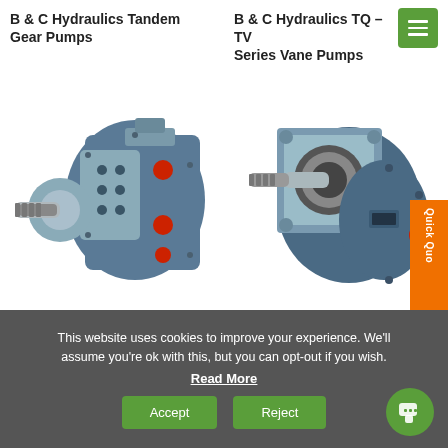B & C Hydraulics Tandem Gear Pumps
B & C Hydraulics TQ – TV Series Vane Pumps
[Figure (photo): Blue hydraulic tandem gear pump with red port caps and splined shaft]
[Figure (photo): Blue hydraulic vane pump with square mounting flange, splined shaft, and red port cap]
This website uses cookies to improve your experience. We'll assume you're ok with this, but you can opt-out if you wish.
Read More
Accept
Reject